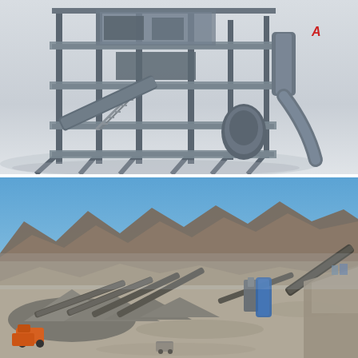[Figure (photo): 3D rendering / photograph of a large industrial crushing or processing plant structure with steel framework, conveyors, staircases, and ductwork on a light grey background. Partial red text visible at top right corner.]
[Figure (photo): Aerial photograph of an open-pit mining and aggregate processing facility with multiple conveyor belts, stockpiles of crushed stone/gravel, heavy equipment including orange dump trucks, set against a mountainous arid landscape under a clear blue sky.]